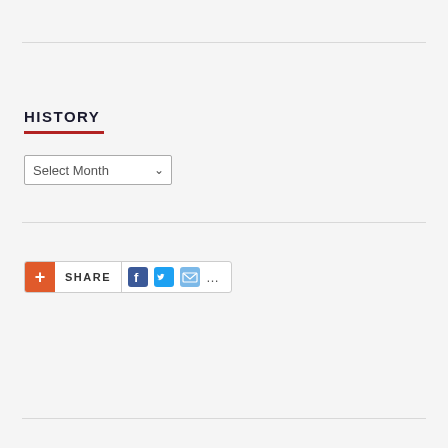HISTORY
[Figure (screenshot): Select Month dropdown widget]
[Figure (screenshot): Share bar with Facebook, Twitter, Email icons and more options]